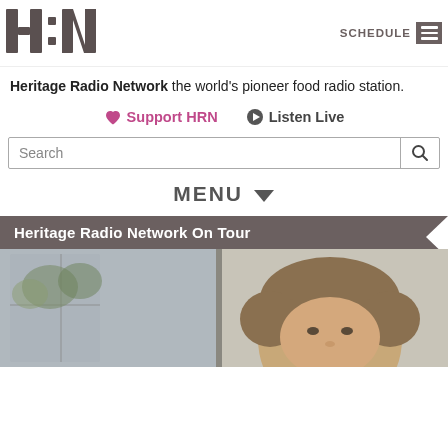[Figure (logo): HRN logo — large bold grey letters H, colon, N on white background]
SCHEDULE
Heritage Radio Network the world's pioneer food radio station.
♥ Support HRN   ▶ Listen Live
Search
MENU ∨
Heritage Radio Network On Tour
[Figure (photo): A person with brown hair photographed from the shoulders up, in front of a window with trees visible outside. Split-panel background.]